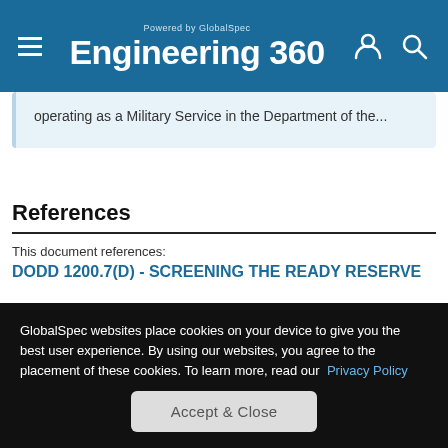Powered by GlobalSpec Engineering 360
operating as a Military Service in the Department of the...
References
This document references:
DODD 1200.7(D) - SCREENING THE READY RESERVE
Published by DODD on November 18, 1999
GlobalSpec websites place cookies on your device to give you the best user experience. By using our websites, you agree to the placement of these cookies. To learn more, read our Privacy Policy
Accept & Close